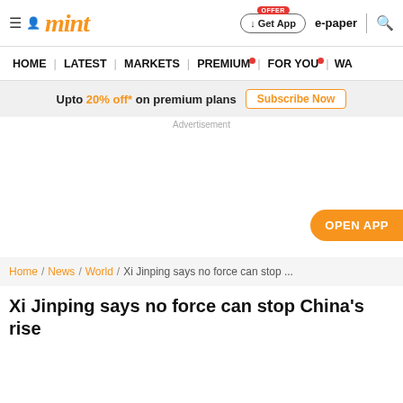mint | Get App | e-paper
HOME | LATEST | MARKETS | PREMIUM | FOR YOU | WA
Upto 20% off* on premium plans Subscribe Now
Advertisement
[Figure (other): Advertisement blank space with OPEN APP button]
Home / News / World / Xi Jinping says no force can stop ...
Xi Jinping says no force can stop China's rise